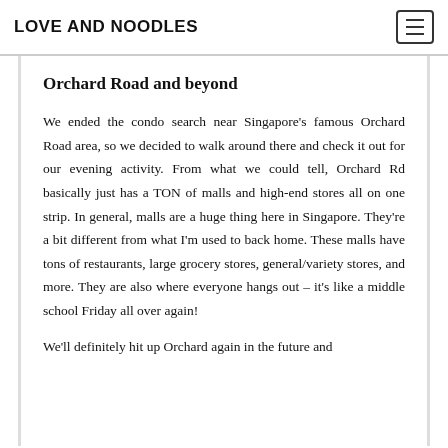LOVE AND NOODLES
Orchard Road and beyond
We ended the condo search near Singapore's famous Orchard Road area, so we decided to walk around there and check it out for our evening activity. From what we could tell, Orchard Rd basically just has a TON of malls and high-end stores all on one strip. In general, malls are a huge thing here in Singapore. They're a bit different from what I'm used to back home. These malls have tons of restaurants, large grocery stores, general/variety stores, and more. They are also where everyone hangs out – it's like a middle school Friday all over again!
We'll definitely hit up Orchard again in the future and